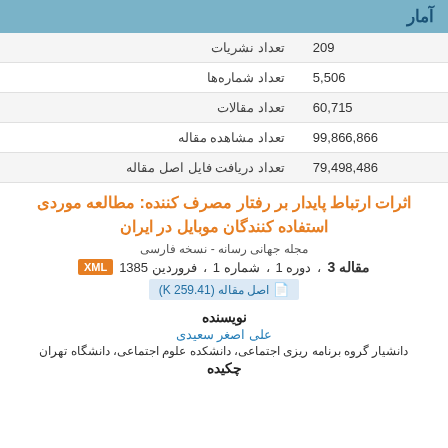آمار
| تعداد نشریات | 209 |
| --- | --- |
| تعداد شماره‌ها | 5,506 |
| تعداد مقالات | 60,715 |
| تعداد مشاهده مقاله | 99,866,866 |
| تعداد دریافت فایل اصل مقاله | 79,498,486 |
اثرات ارتباط پایدار بر رفتار مصرف کننده: مطالعه موردی استفاده کنندگان موبایل در ایران
مجله جهانی رسانه - نسخه فارسی
مقاله 3، دوره 1، شماره 1، فروردین 1385
اصل مقاله (K 259.41)
نویسنده
علی اصغر سعیدی
دانشیار گروه برنامه ریزی اجتماعی، دانشکده علوم اجتماعی، دانشگاه تهران
چکیده